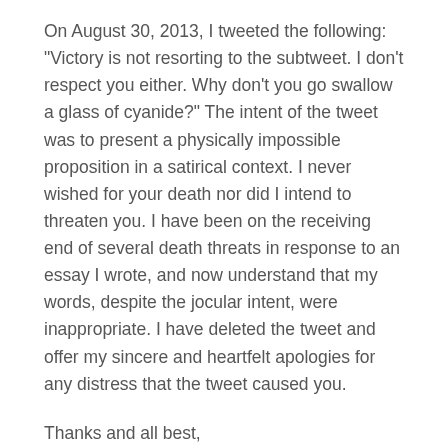On August 30, 2013, I tweeted the following: "Victory is not resorting to the subtweet. I don't respect you either. Why don't you go swallow a glass of cyanide?" The intent of the tweet was to present a physically impossible proposition in a satirical context. I never wished for your death nor did I intend to threaten you. I have been on the receiving end of several death threats in response to an essay I wrote, and now understand that my words, despite the jocular intent, were inappropriate. I have deleted the tweet and offer my sincere and heartfelt apologies for any distress that the tweet caused you.
Thanks and all best,